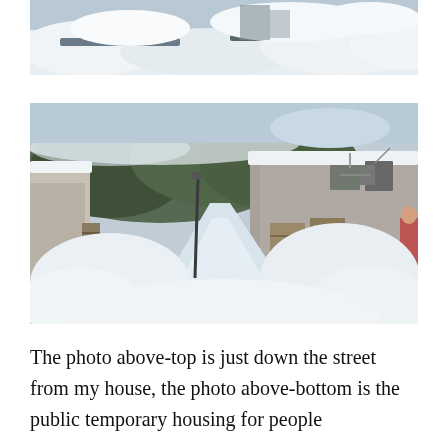[Figure (photo): Top photo: snowy street scene close-up with snow-covered ground and objects, taken just down the street from the author's house.]
[Figure (photo): Bottom photo: snow-covered narrow path between rows of temporary modular housing units with heavy snow piled on roofs and sides, trees and mountain visible in background.]
The photo above-top is just down the street from my house, the photo above-bottom is the public temporary housing for people